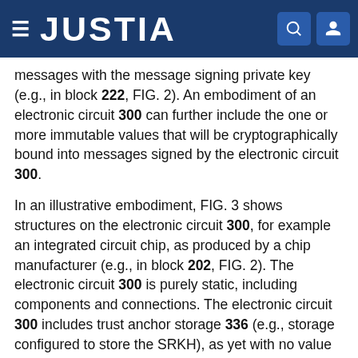JUSTIA
messages with the message signing private key (e.g., in block 222, FIG. 2). An embodiment of an electronic circuit 300 can further include the one or more immutable values that will be cryptographically bound into messages signed by the electronic circuit 300.
In an illustrative embodiment, FIG. 3 shows structures on the electronic circuit 300, for example an integrated circuit chip, as produced by a chip manufacturer (e.g., in block 202, FIG. 2). The electronic circuit 300 is purely static, including components and connections. The electronic circuit 300 includes trust anchor storage 336 (e.g., storage configured to store the SRKH), as yet with no value since the electronic circuit 300 has not yet been fully provisioned Similarly key and tag registers do not contain determined values prior to provisioning. Off-chip items are shown for the purpose of describing the